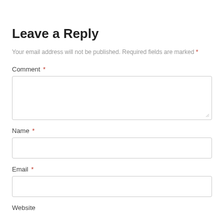Leave a Reply
Your email address will not be published. Required fields are marked *
Comment *
[Figure (other): Empty textarea input box for comment]
Name *
[Figure (other): Empty single-line input box for name]
Email *
[Figure (other): Empty single-line input box for email]
Website